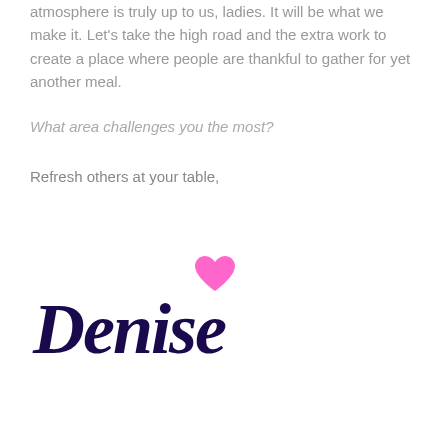atmosphere is truly up to us, ladies. It will be what we make it. Let's take the high road and the extra work to create a place where people are thankful to gather for yet another meal.
What area challenges you the most?
Refresh others at your table,
[Figure (illustration): Cursive signature 'Denise' in dark navy/purple with a pink heart above the letter i]